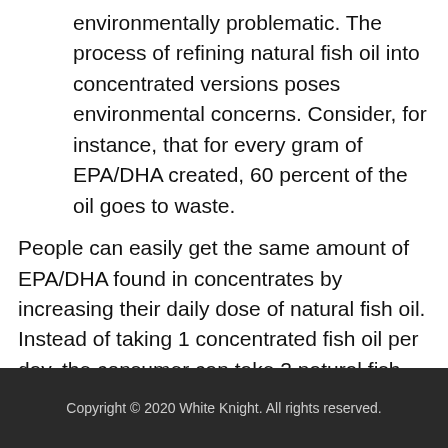environmentally problematic. The process of refining natural fish oil into concentrated versions poses environmental concerns. Consider, for instance, that for every gram of EPA/DHA created, 60 percent of the oil goes to waste.
People can easily get the same amount of EPA/DHA found in concentrates by increasing their daily dose of natural fish oil. Instead of taking 1 concentrated fish oil per day, the consumer can take 2 natural fish oil.
Copyright © 2020 White Knight. All rights reserved.